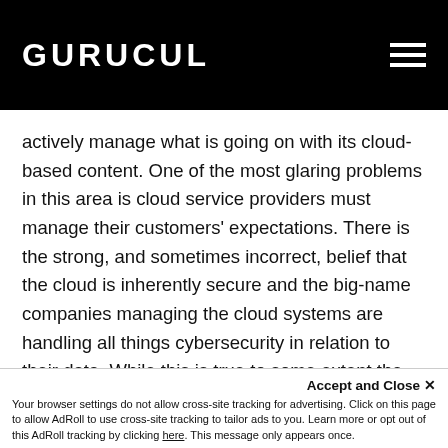GURUCUL
actively manage what is going on with its cloud-based content. One of the most glaring problems in this area is cloud service providers must manage their customers' expectations. There is the strong, and sometimes incorrect, belief that the cloud is inherently secure and the big-name companies managing the cloud systems are handling all things cybersecurity in relation to their data. While this is true to some extent the company also has to do its share of work. Admins cannot kick back and pay no attention.
Accept and Close ✕ Your browser settings do not allow cross-site tracking for advertising. Click on this page to allow AdRoll to use cross-site tracking to tailor ads to you. Learn more or opt out of this AdRoll tracking by clicking here. This message only appears once.